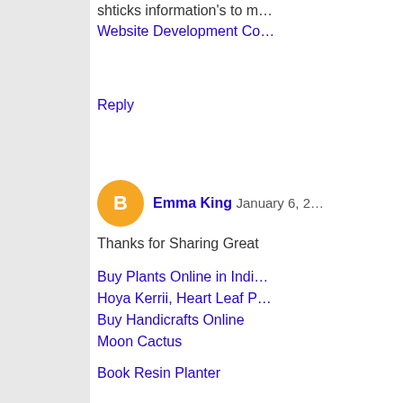shticks information's to m…
Website Development Co…
Reply
Emma King  January 6, 2…
Thanks for Sharing Great
Buy Plants Online in Indi…
Hoya Kerrii, Heart Leaf P…
Buy Handicrafts Online
Moon Cactus
Book Resin Planter
Buy Planter Pot & Flower…
Buy
Succulents & Cactus
Buy Planter Pot & Flower…
Reply